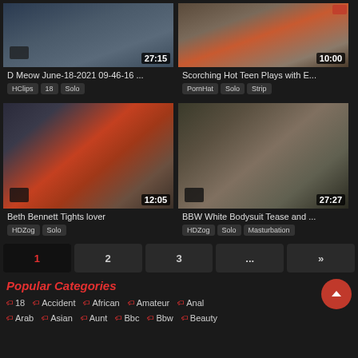[Figure (screenshot): Video thumbnail with duration 27:15 for 'D Meow June-18-2021 09-46-16 ...']
[Figure (screenshot): Video thumbnail with duration 10:00 for 'Scorching Hot Teen Plays with E...']
D Meow June-18-2021 09-46-16 ...
HClips  18  Solo
Scorching Hot Teen Plays with E...
PornHat  Solo  Strip
[Figure (screenshot): Video thumbnail with duration 12:05 for 'Beth Bennett Tights lover']
[Figure (screenshot): Video thumbnail with duration 27:27 for 'BBW White Bodysuit Tease and ...']
Beth Bennett Tights lover
HDZog  Solo
BBW White Bodysuit Tease and ...
HDZog  Solo  Masturbation
1  2  3  ...  »
Popular Categories
18  Accident  African  Amateur  Anal
Arab  Asian  Aunt  Bbc  Bbw  Beauty